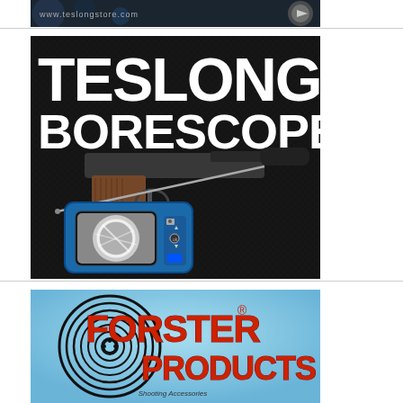[Figure (photo): Partial view of an advertisement — blue-toned background with circular emblem, partial URL text visible, advertising banner top strip]
[Figure (photo): Teslong Borescopes advertisement showing a 1911-style pistol with a borescope camera device displaying bore interior image on its screen. Bold white text reads 'TESLONG BORESCOPES' on dark background.]
[Figure (logo): Forster Products advertisement on light blue background showing the Forster Products logo with concentric circles target icon on the left and bold red text 'FORSTER® PRODUCTS' on the right, with italic subtitle text below.]